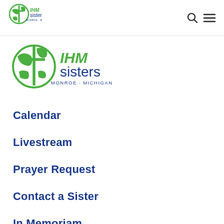[Figure (logo): IHM Sisters Monroe Michigan logo - small version in top navigation bar, green globe with cross and IHM sisters text in blue]
[Figure (logo): IHM Sisters Monroe Michigan logo - large version below navigation, green globe with cross and IHM sisters text in blue]
Calendar
Livestream
Prayer Request
Contact a Sister
In Memoriam
Jubilarians